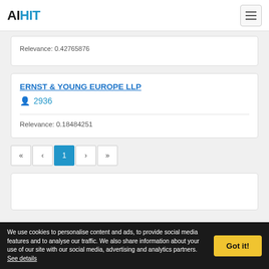AIHIT
Relevance: 0.42765876
ERNST & YOUNG EUROPE LLP
2936
Relevance: 0.18484251
« ‹ 1 › »
We use cookies to personalise content and ads, to provide social media features and to analyse our traffic. We also share information about your use of our site with our social media, advertising and analytics partners. See details